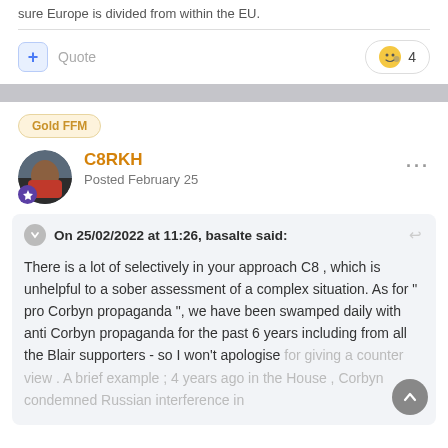sure Europe is divided from within the EU.
Quote
4
Gold FFM
C8RKH
Posted February 25
On 25/02/2022 at 11:26, basalte said:
There is a lot of selectively in your approach C8 , which is unhelpful to a sober assessment of a complex situation. As for " pro Corbyn propaganda ", we have been swamped daily with anti Corbyn propaganda for the past 6 years including from all the Blair supporters - so I won't apologise for giving a counter view . A brief example ; 4 years ago in the House , Corbyn condemned Russian interference in